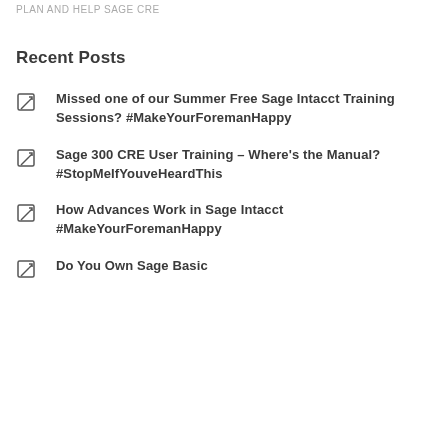PLAN AND HELP SAGE CRE
Recent Posts
Missed one of our Summer Free Sage Intacct Training Sessions? #MakeYourForemanHappy
Sage 300 CRE User Training – Where's the Manual? #StopMeIfYouveHeardThis
How Advances Work in Sage Intacct #MakeYourForemanHappy
Do You Own Sage Basic